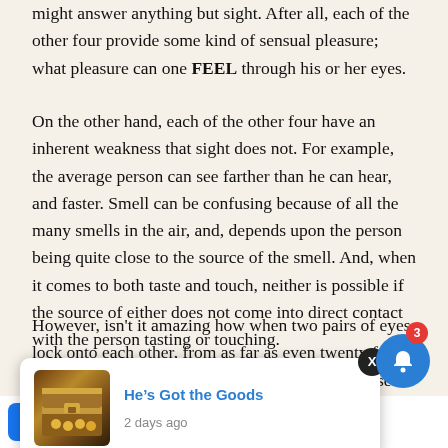might answer anything but sight. After all, each of the other four provide some kind of sensual pleasure; what pleasure can one FEEL through his or her eyes.
On the other hand, each of the other four have an inherent weakness that sight does not. For example, the average person can see farther than he can hear, and faster. Smell can be confusing because of all the many smells in the air, and, depends upon the person being quite close to the source of the smell. And, when it comes to both taste and touch, neither is possible if the source of either does not come into direct contact with the person tasting or touching.
However, isn't it amazing how when two pairs of eyes lock onto each other, from as far as even twenty feet away or more, distance seems to disappear. Eyes seem to be able to “bore”
[Figure (screenshot): Notification card overlay showing 'He's Got the Goods' with image of treasure chest and text '2 days ago', with X close button]
They seem to be n's soul, wh
“windows to the soul.”